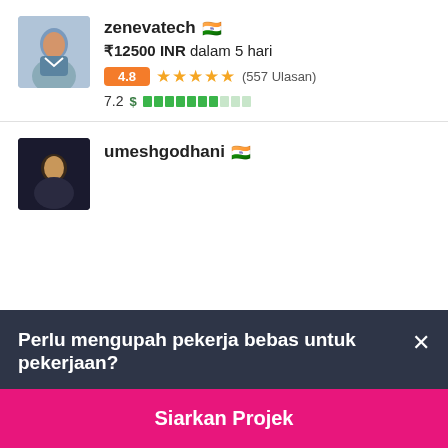[Figure (photo): Profile photo of zenevatech - man in blue shirt]
zenevatech 🇮🇳
₹12500 INR dalam 5 hari
4.8 ★★★★★ (557 Ulasan)
7.2 $ ▓▓▓▓▓▓▓░░░
[Figure (photo): Profile photo of umeshgodhani - dark background]
umeshgodhani 🇮🇳
Perlu mengupah pekerja bebas untuk pekerjaan?
Siarkan Projek